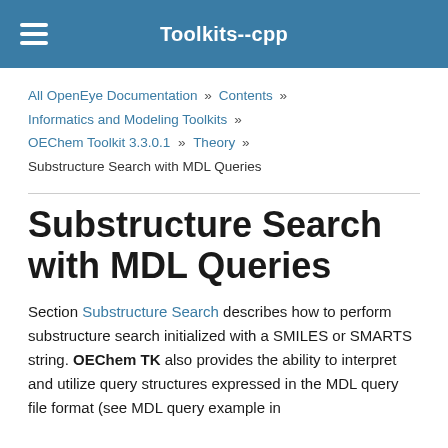Toolkits--cpp
All OpenEye Documentation » Contents » Informatics and Modeling Toolkits » OEChem Toolkit 3.3.0.1 » Theory » Substructure Search with MDL Queries
Substructure Search with MDL Queries
Section Substructure Search describes how to perform substructure search initialized with a SMILES or SMARTS string. OEChem TK also provides the ability to interpret and utilize query structures expressed in the MDL query file format (see MDL query example in